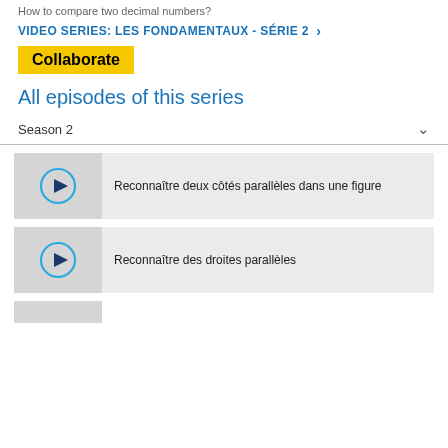How to compare two decimal numbers?
VIDEO SERIES: LES FONDAMENTAUX - SÉRIE 2 ›
Collaborate
All episodes of this series
Season 2
[Figure (screenshot): Video thumbnail with play button for: Reconnaître deux côtés parallèles dans une figure]
Reconnaître deux côtés parallèles dans une figure
[Figure (screenshot): Video thumbnail with play button for: Reconnaître des droites parallèles]
Reconnaître des droites parallèles
[Figure (screenshot): Video thumbnail partially visible at bottom]